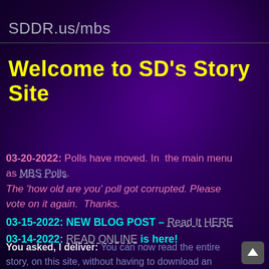SDDR.us/mbs
Welcome to SD's Story Site
03-20-2022: Polls have moved. In  the main menu as MBS Polls.
The 'how old are you' poll got corrupted. Please vote on it again.  Thanks.
03-15-2022: NEW BLOG POST – Read It HERE
03-14-2022: READ ONLINE is here!
You asked, I deliver: You can now read the entire story, on this site, without having to download an